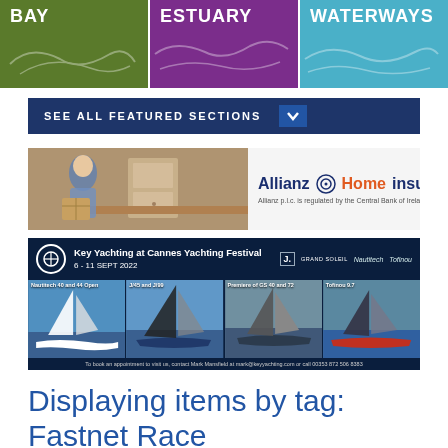[Figure (infographic): Three colored banner tiles: BAY (olive green), ESTUARY (purple), WATERWAYS (light blue), each with white text and decorative map lines]
[Figure (infographic): Dark blue bar reading SEE ALL FEATURED SECTIONS with chevron/dropdown icon]
[Figure (infographic): Allianz Home Insurance advertisement banner with photo of person moving boxes and Allianz logo]
[Figure (infographic): Key Yachting at Cannes Yachting Festival advertisement showing 4 sailboat photos with event details 6-11 SEPT 2022]
Displaying items by tag: Fastnet Race